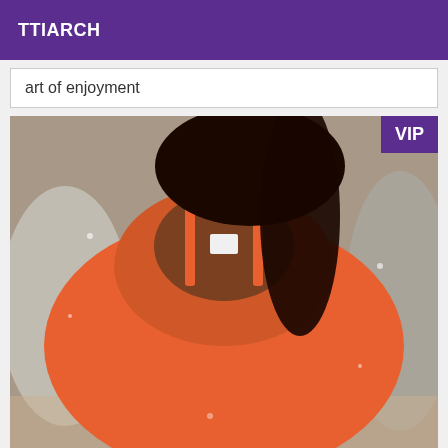TTIARCH
art of enjoyment
[Figure (photo): A person lying face-down on a surface, wearing a red/orange top, with curly dark hair. A mirrored/reversed timestamp watermark '17.07.20' is visible on the garment. A purple VIP badge appears in the top-right corner of the image.]